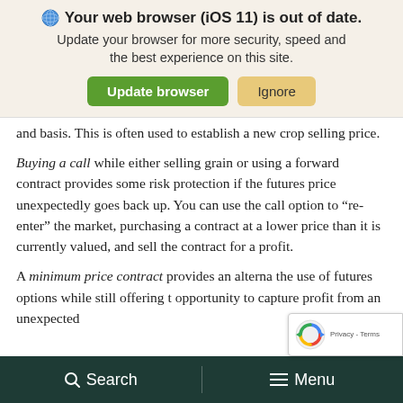[Figure (screenshot): Browser update notification banner with globe icon, bold title 'Your web browser (iOS 11) is out of date.', subtitle text, and two buttons: green 'Update browser' and tan 'Ignore']
and basis. This is often used to establish a new crop selling price.
Buying a call while either selling grain or using a forward contract provides some risk protection if the futures price unexpectedly goes back up. You can use the call option to “re-enter” the market, purchasing a contract at a lower price than it is currently valued, and sell the contract for a profit.
A minimum price contract provides an alterna the use of futures options while still offering t opportunity to capture profit from an unexpected
[Figure (logo): reCAPTCHA badge with spinning arrows logo and Privacy - Terms text]
Search   Menu